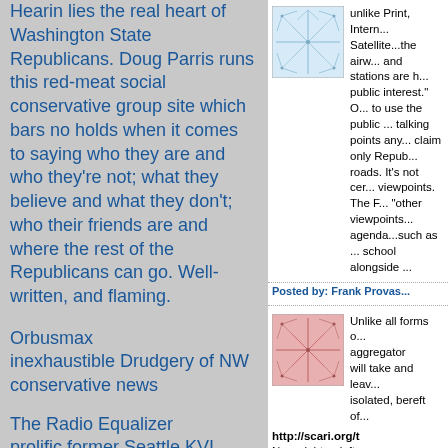Hearin lies the real heart of Washington State Republicans. Doug Parris runs this red-meat social conservative group site which bars no holds when it comes to saying who they are and who they're not; what they believe and what they don't; who their friends are and where the rest of the Republicans can go. Well-written, and flaming.
Orbusmax
inexhaustible Drudgery of NW conservative news
The Radio Equalizer
prolific former Seattle KVI
[Figure (illustration): Blue/white fractal network thumbnail image]
unlike Print, Internet, Satellite...the airwaves and stations are held in public interest." Of course, to use the public airwaves, talking points anyone can claim only Republicans use roads. It's not censoring viewpoints. The Fairness 'other viewpoints' agenda...such as teaching in school alongside
Posted by: Frank Provas...
[Figure (illustration): Red/pink fractal network thumbnail image]
Unlike all forms of aggregator
will take and leave isolated, bereft of
http://scari.org/t
Now, right or left, reminds us that w... Memories.
Scari.Org makes to source materia...